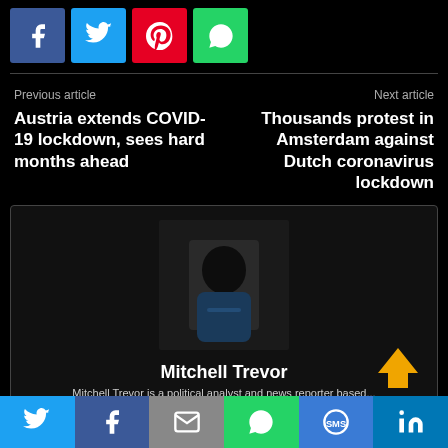[Figure (infographic): Social share buttons: Facebook (blue), Twitter (cyan), Pinterest (red), WhatsApp (green)]
Previous article
Austria extends COVID-19 lockdown, sees hard months ahead
Next article
Thousands protest in Amsterdam against Dutch coronavirus lockdown
[Figure (photo): Author photo of Mitchell Trevor — dark portrait of a person in a blue shirt]
Mitchell Trevor
Mitchell Trevor is a political analyst and news reporter based...
[Figure (infographic): Bottom share bar: Twitter, Facebook, Email, WhatsApp, SMS, LinkedIn]